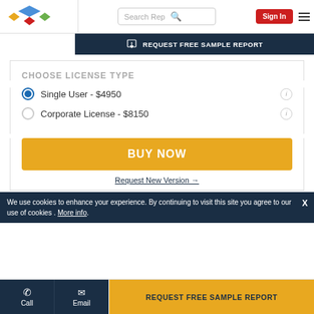Search Rep | Sign In
REQUEST FREE SAMPLE REPORT
CHOOSE LICENSE TYPE
Single User - $4950
Corporate License - $8150
BUY NOW
Request New Version →
We use cookies to enhance your experience. By continuing to visit this site you agree to our use of cookies . More info.
Call | Email | REQUEST FREE SAMPLE REPORT